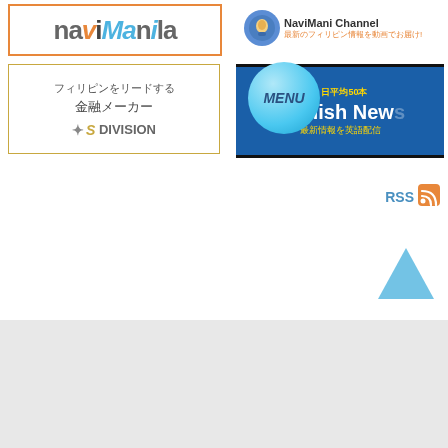[Figure (logo): NaviManila logo in orange border box]
[Figure (logo): NaviMani Channel logo with mascot icon and Japanese subtitle text]
[Figure (illustration): S DIVISION advertisement: フィリピンをリードする金融メーカー ✦S DIVISION in gold border]
[Figure (screenshot): English News blue ad banner: １日平均50本 English News 最新情報を英語配信, with MENU circle overlay]
RSS
[Figure (illustration): Blue upward pointing arrow/triangle icon]
□□□□□□□□□□
□□□□□□□□□□
□□
□□□□□□□□
□□□
□□□□□□□□